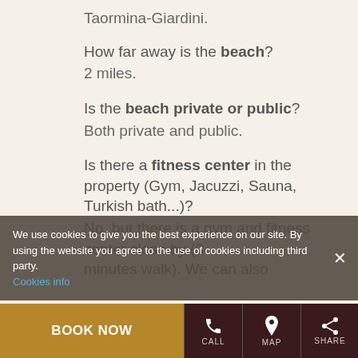Taormina-Giardini.
How far away is the beach? 2 miles.
Is the beach private or public? Both private and public.
Is there a fitness center in the property (Gym, Jacuzzi, Sauna, Turkish bath...)? No, but there is a gym and fitness center close by (3 minutes walk). We can also ...facilities in some of the 5 star hotels in t...
We use cookies to give you the best experience on our site. By using the website you agree to the use of cookies including third party. Cookies info
BOOK NOW  CALL  MAP  SHARE